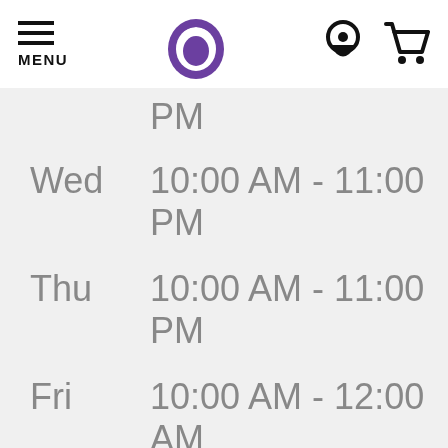MENU [Taco Bell logo] [Location icon] [Cart icon]
| Day | Hours |
| --- | --- |
|  | PM |
| Wed | 10:00 AM - 11:00 PM |
| Thu | 10:00 AM - 11:00 PM |
| Fri | 10:00 AM - 12:00 AM |
| Sat | 10:00 AM - 12:00 |